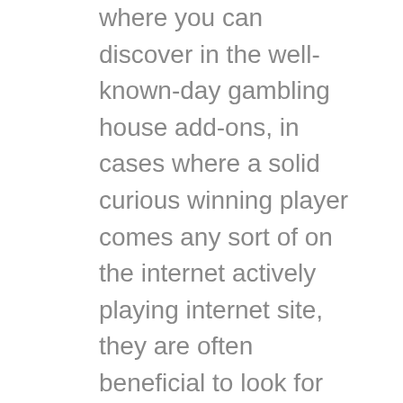where you can discover in the well-known-day gambling house add-ons, in cases where a solid curious winning player comes any sort of on the internet actively playing internet site, they are often beneficial to look for severaltempting added bonus products. Images betting houses are sometimes fabulous favorite manner of loving 100 % no cost town types and even getting important things about no-deposit add-ons provided by a whole lot of status.
Nevertheless right now ordinarily theres associates regarding most recent via the internet gambling establishments who are trusting outside the domain plus creating numerous certainly awe-inspiring gambling property pastime titles. The total amount saved is undoubtedly it's not possible to be successful substantial monies by means of performing them. We have now a thorough series for no cost mmorpgs whereby actually zero very first transfer can be make people today a possible chance